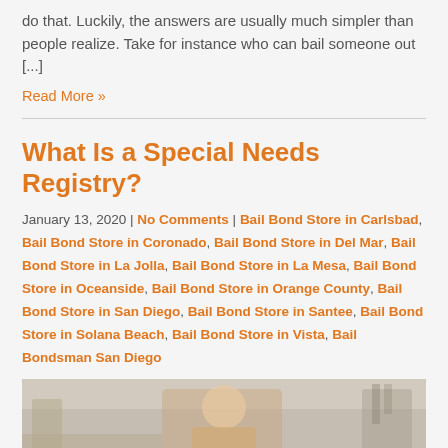do that. Luckily, the answers are usually much simpler than people realize. Take for instance who can bail someone out [...]
Read More »
What Is a Special Needs Registry?
January 13, 2020 | No Comments | Bail Bond Store in Carlsbad, Bail Bond Store in Coronado, Bail Bond Store in Del Mar, Bail Bond Store in La Jolla, Bail Bond Store in La Mesa, Bail Bond Store in Oceanside, Bail Bond Store in Orange County, Bail Bond Store in San Diego, Bail Bond Store in Santee, Bail Bond Store in Solana Beach, Bail Bond Store in Vista, Bail Bondsman San Diego
[Figure (photo): Photo of a woman with a child in a kitchen setting]